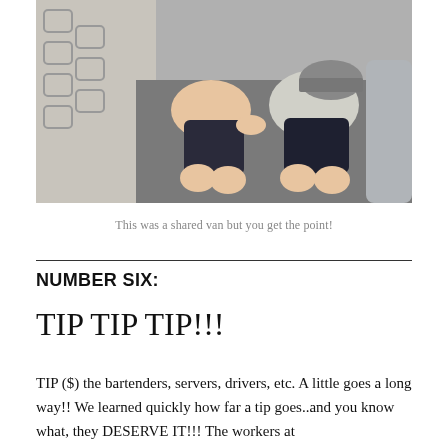[Figure (photo): Photo of two children sitting close together, wearing dark shorts, on a patterned seat/couch in what appears to be a van or vehicle interior.]
This was a shared van but you get the point!
NUMBER SIX:
TIP TIP TIP!!!
TIP ($) the bartenders, servers, drivers, etc. A little goes a long way!! We learned quickly how far a tip goes..and you know what, they DESERVE IT!!! The workers at